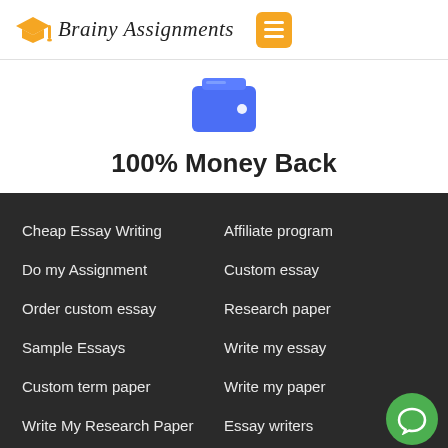[Figure (logo): Brainy Assignments logo with graduation cap icon in orange and script text]
[Figure (illustration): Blue wallet icon with white card lines and white dot]
100% Money Back
Cheap Essay Writing
Affiliate program
Do my Assignment
Custom essay
Order custom essay
Research paper
Sample Essays
Write my essay
Custom term paper
Write my paper
Write My Research Paper
Essay writers